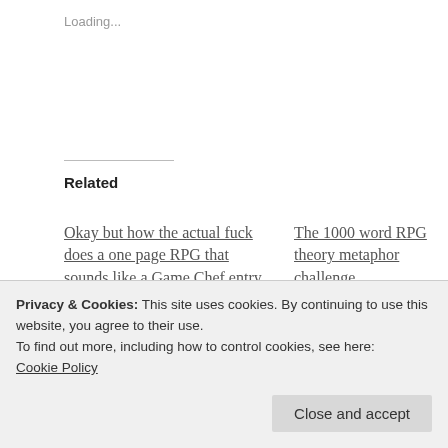Loading...
Related
Okay but how the actual fuck does a one page RPG that sounds like a Game Chef entry circa 2004 get this kind of...
Okay but how the actual fuck does a one page RPG that sounds
The 1000 word RPG theory metaphor challenge
The 1000 word RPG theory metaphor challenge
December 3, 2017
In "Indie Game Reading Club"
Privacy & Cookies: This site uses cookies. By continuing to use this website, you agree to their use.
To find out more, including how to control cookies, see here:
Cookie Policy
Close and accept